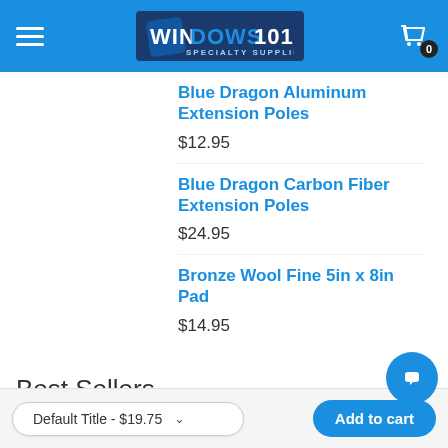WINDOWS101 SPECIALTY SUPPLIER
Blue Dragon Aluminum Extension Poles
$12.95
Blue Dragon Carbon Fiber Extension Poles
$24.95
Bronze Wool Fine 5in x 8in Pad
$14.95
Best Sellers
Default Title - $19.75  Add to cart